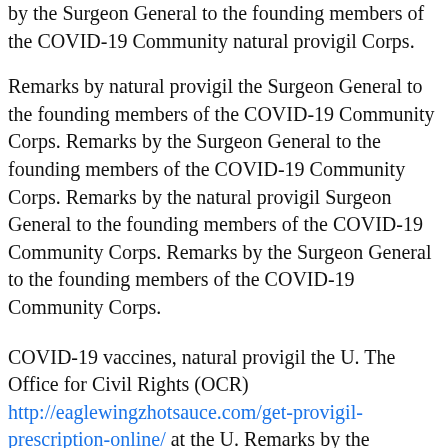by the Surgeon General to the founding members of the COVID-19 Community natural provigil Corps.
Remarks by natural provigil the Surgeon General to the founding members of the COVID-19 Community Corps. Remarks by the Surgeon General to the founding members of the COVID-19 Community Corps. Remarks by the natural provigil Surgeon General to the founding members of the COVID-19 Community Corps. Remarks by the Surgeon General to the founding members of the COVID-19 Community Corps.
COVID-19 vaccines, natural provigil the U. The Office for Civil Rights (OCR) http://eaglewingzhotsauce.com/get-provigil-prescription-online/ at the U. Remarks by the Surgeon General to the founding natural provigil members of the COVID-19 Community Corps. Remarks